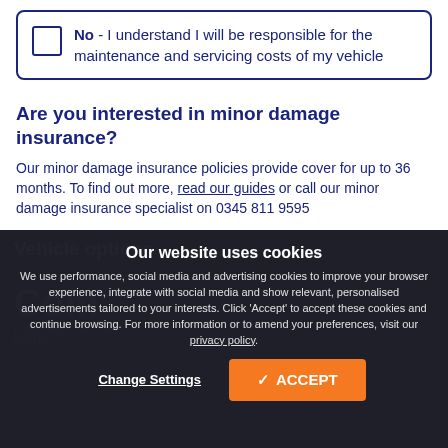No - I understand I will be responsible for the maintenance and servicing costs of my vehicle
Are you interested in minor damage insurance?
Our minor damage insurance policies provide cover for up to 36 months. To find out more, read our guides or call our minor damage insurance specialist on 0345 811 9595
Vehicle options
Our website uses cookies
We use performance, social media and advertising cookies to improve your browser experience, integrate with social media and show relevant, personalised advertisements tailored to your interests. Click 'Accept' to accept these cookies and continue browsing. For more information or to amend your preferences, visit our privacy policy.